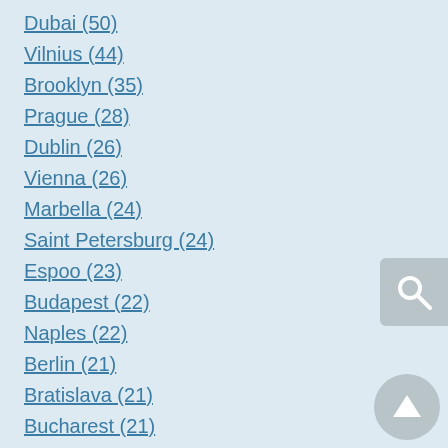Dubai (50)
Vilnius (44)
Brooklyn (35)
Prague (28)
Dublin (26)
Vienna (26)
Marbella (24)
Saint Petersburg (24)
Espoo (23)
Budapest (22)
Naples (22)
Berlin (21)
Bratislava (21)
Bucharest (21)
Lisbon (19)
Tel Aviv (19)